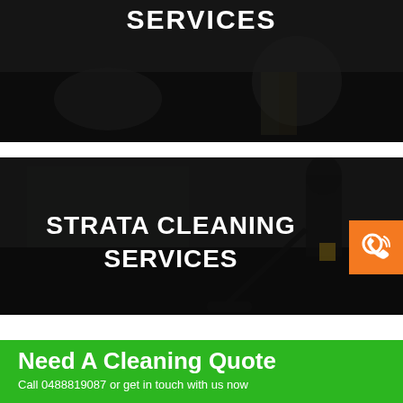[Figure (photo): Dark banner image showing a cleaning scene with workers, overlaid with bold white text 'SERVICES' in uppercase]
[Figure (photo): Dark banner image showing a person mopping/vacuuming a floor in a commercial space, overlaid with bold white text 'STRATA CLEANING SERVICES' and an orange phone button on the right]
Need A Cleaning Quote
Call 0488819087 or get in touch with us now